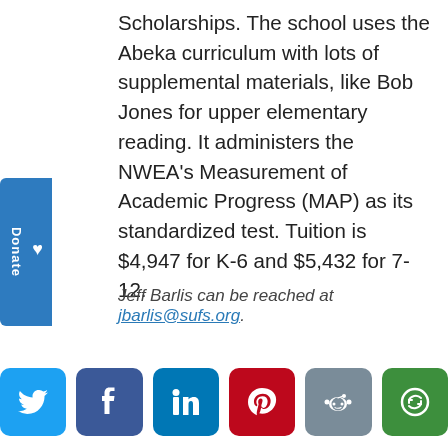Scholarships. The school uses the Abeka curriculum with lots of supplemental materials, like Bob Jones for upper elementary reading. It administers the NWEA's Measurement of Academic Progress (MAP) as its standardized test. Tuition is $4,947 for K-6 and $5,432 for 7-12.
Jeff Barlis can be reached at jbarlis@sufs.org.
[Figure (other): Social sharing buttons: Twitter, Facebook, LinkedIn, Pinterest, Reddit, More]